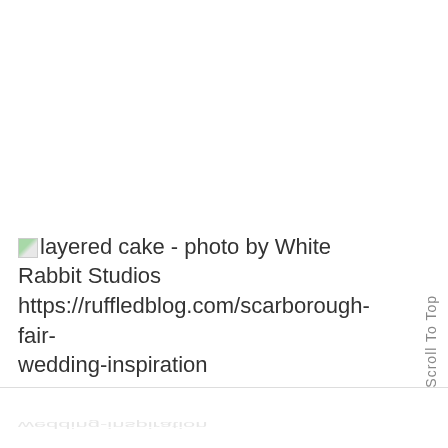layered cake - photo by White Rabbit Studios https://ruffledblog.com/scarborough-fair-wedding-inspiration
Scroll To Top